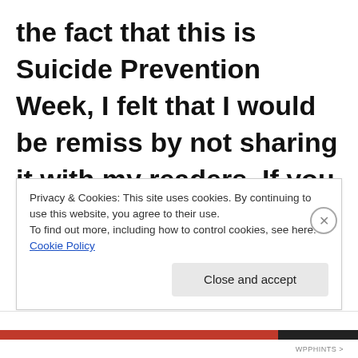the fact that this is Suicide Prevention Week, I felt that I would be remiss by not sharing it with my readers. If you have a loved one who is suffering from depression or any other
Privacy & Cookies: This site uses cookies. By continuing to use this website, you agree to their use.
To find out more, including how to control cookies, see here: Cookie Policy
Close and accept